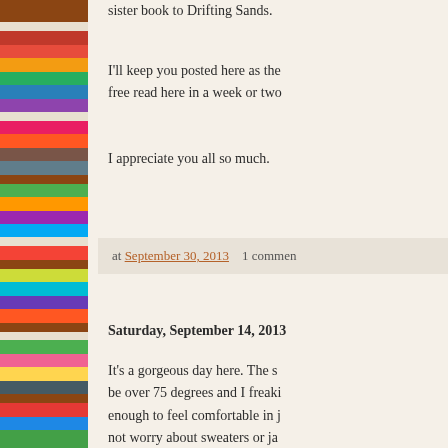[Figure (photo): Bookshelf with colorful books, photographed from the side]
sister book to Drifting Sands.
I'll keep you posted here as the free read here in a week or two
I appreciate you all so much.
at September 30, 2013    1 commen
Saturday, September 14, 2013
It's a gorgeous day here. The s be over 75 degrees and I freak enough to feel comfortable in j not worry about sweaters or ja wonderful day. I'm beginning w Waves. Excited to be writing a
Talk to you soon